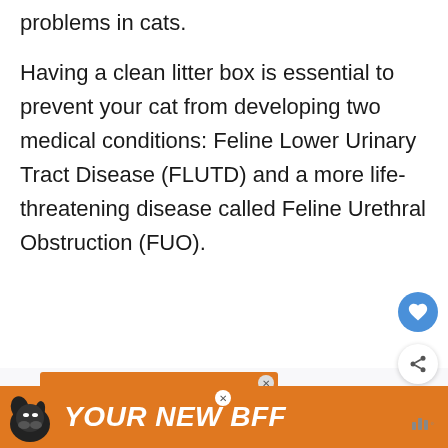problems in cats.
Having a clean litter box is essential to prevent your cat from developing two medical conditions: Feline Lower Urinary Tract Disease (FLUTD) and a more life-threatening disease called Feline Urethral Obstruction (FUO).
[Figure (screenshot): Orange advertisement banner: 'You can help hungry kids. NO KID HUNGRY LEARN MORE' with close button]
[Figure (screenshot): What's Next panel showing 'How To Clean A Litter Box...' with thumbnail image]
[Figure (screenshot): Bottom black bar advertisement with orange section showing dog icon and 'YOUR NEW BFF' text in bold italic orange on black, with close button and sound icon]